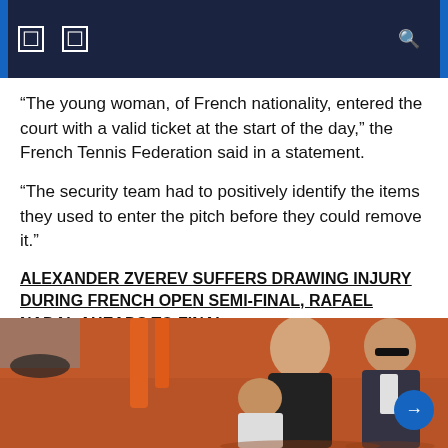Navigation header with icons
“The young woman, of French nationality, entered the court with a valid ticket at the start of the day,” the French Tennis Federation said in a statement.
“The security team had to positively identify the items they used to enter the pitch before they could remove it.”
ALEXANDER ZVEREV SUFFERS DRAWING INJURY DURING FRENCH OPEN SEMI-FINAL, RAFAEL NADAL AHEADS TO FINAL
The woman was eventually taken out of court by security and “handed over to the police”, the federation added.
[Figure (photo): Photo of people on a clay tennis court, showing security personnel and other individuals, on a reddish clay surface]